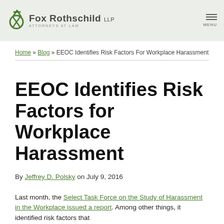Fox Rothschild LLP — ATTORNEYS AT LAW
Home » Blog » EEOC Identifies Risk Factors For Workplace Harassment
EEOC Identifies Risk Factors for Workplace Harassment
By Jeffrey D. Polsky on July 9, 2016
Last month, the Select Task Force on the Study of Harassment in the Workplace issued a report. Among other things, it identified risk factors that